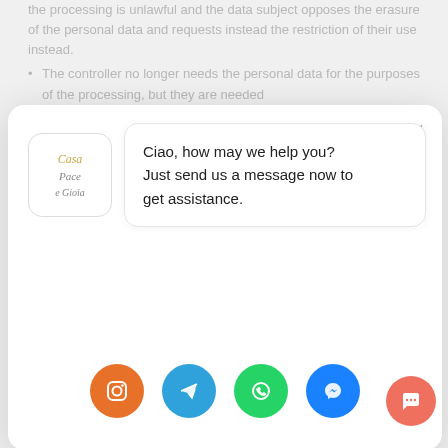the processing is unlawful and the data subject opposes the erasure of the personal data and requests instead the restriction of their use instead. The controller no longer needs the personal data for the purposes of the processing, but they are...
[Figure (screenshot): Chat widget popup from 'Casa Pace e Gioia' showing a welcome message 'Ciao, how may we help you? Just send us a message now to get assistance.' with four social media contact buttons: Instagram (orange), Telegram (blue), WhatsApp (green), Messenger (blue). A close (×) button is in the top right corner. A chat trigger button (coral/red) with speech bubble icon appears in the bottom right corner.]
i) Right to data portability
Each data subject shall have the right granted by the European legislator, to receive the personal data...